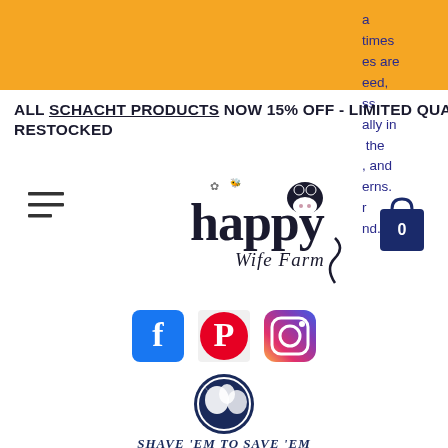[Figure (other): Orange banner bar at the top of the page]
a
times
es are
eed,
ss
ally in
the
, and
erns.
r
nd.
ALL SCHACHT PRODUCTS NOW 15% OFF - LIMITED QUANTITIES - WILL NOT BE RESTOCKED
[Figure (logo): Hamburger menu icon (three horizontal lines)]
[Figure (logo): Happy Wife Farm logo with cow and flower illustration]
[Figure (logo): Shopping bag icon with 0]
[Figure (logo): Facebook icon (blue square with white f)]
[Figure (logo): Pinterest icon (red circle with white P)]
[Figure (logo): Instagram icon (gradient camera logo)]
[Figure (logo): Shave Em to Save Em logo - circular badge with farm animals silhouette, dark navy blue, with text SHAVE EM TO SAVE EM The Livestock Conservancy]